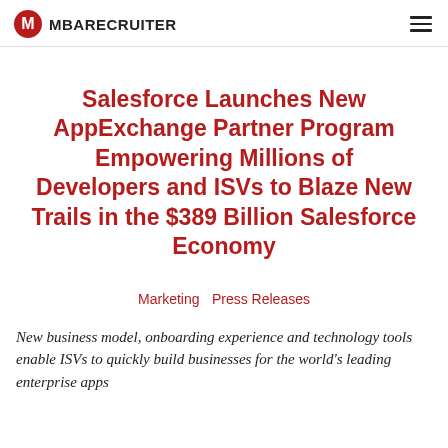MBA RECRUITER
Salesforce Launches New AppExchange Partner Program Empowering Millions of Developers and ISVs to Blaze New Trails in the $389 Billion Salesforce Economy
Marketing  Press Releases
New business model, onboarding experience and technology tools enable ISVs to quickly build businesses for the world's leading enterprise apps